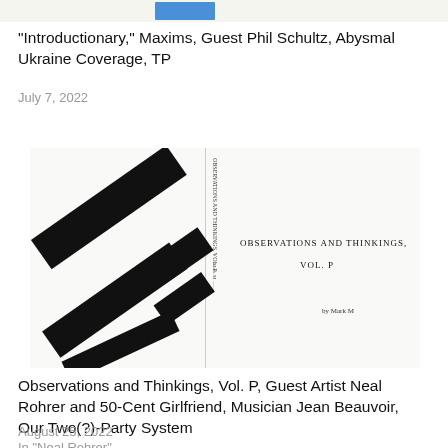[Figure (photo): Small thumbnail image at top of page showing a blue graphic or waveform]
“Introductionary,” Maxims, Guest Phil Schultz, Abysmal Ukraine Coverage, TP
July 7, 2022
[Figure (photo): Book cover image showing 'OBSERVATIONS AND THINKINGS, VOL. P by Mark M' with diagonal black rectangular shapes on the left side and vertical spine text]
Observations and Thinkings, Vol. P, Guest Artist Neal Rohrer and 50-Cent Girlfriend, Musician Jean Beauvoir, Our Two(?)-Party System
August 25, 2022
In “Neal Rohrer”